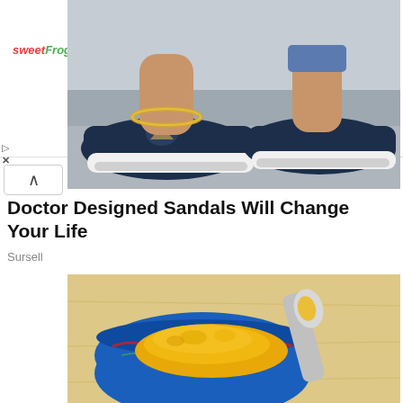[Figure (screenshot): sweetFrog restaurant ad banner showing checkmarks for Dine-in, Takeout, and Delivery options with a blue navigation diamond icon on the right]
[Figure (photo): Close-up photo of navy blue slip-on sandals/shoes with cutout detail, white platform sole, worn by a person with a gold chain anklet, against a light background]
Doctor Designed Sandals Will Change Your Life
Sursell
[Figure (photo): Close-up photo of a colorful decorative bowl with yellow turmeric spice and a spoon, on a light wooden surface]